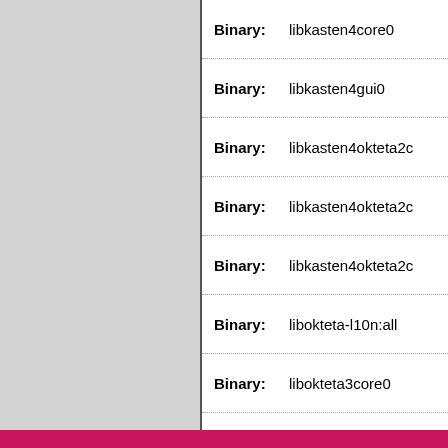| Label | Value |
| --- | --- |
| Binary: | libkasten4core0 |
| Binary: | libkasten4gui0 |
| Binary: | libkasten4okteta2c |
| Binary: | libkasten4okteta2c |
| Binary: | libkasten4okteta2c |
| Binary: | libokteta-l10n:all |
| Binary: | libokteta3core0 |
| Binary: | libokteta3gui0 |
| Binary: | okteta |
| Binary: | okteta-dev |